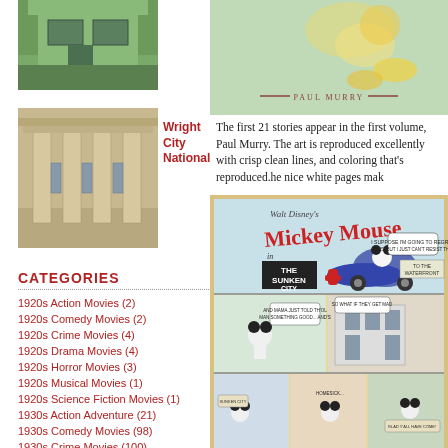[Figure (photo): Green house/building photo (top left)]
[Figure (photo): Wright City National Bank building with stone columns]
Wright City National
CATEGORIES
1920s Action Movies (2)
1920s Comedy Movies (2)
1920s Crime Movies (4)
1920s Drama Movies (4)
1920s Horror Movies (3)
1920s Musical Movies (1)
1920s Science Fiction Movies (1)
1930s Action Adventure (21)
1930s Comedy Movies (98)
1930s Crime Movies (100)
1930s Drama Movies (22)
1930s Horror Movies (20)
[Figure (illustration): Book cover illustration with Paul Murry text and decorative lines]
The first 21 stories appear in the first volume, Paul Murry. The art is reproduced excellently with crisp clean lines, and coloring that's faithfully reproduced.he nice white pages mak
[Figure (illustration): Mickey Mouse comic panel - Walt Disney's Mickey Mouse in The Sunken City comic strip panels]